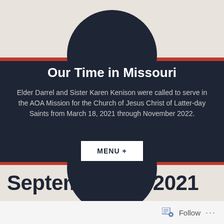Our Time in Missouri
Elder Darrel and Sister Karen Kenison were called to serve in the AOA Mission for the Church of Jesus Christ of Latter-day Saints from March 18, 2021 through November 2022.
MENU +
September 12, 2021
Follow ...